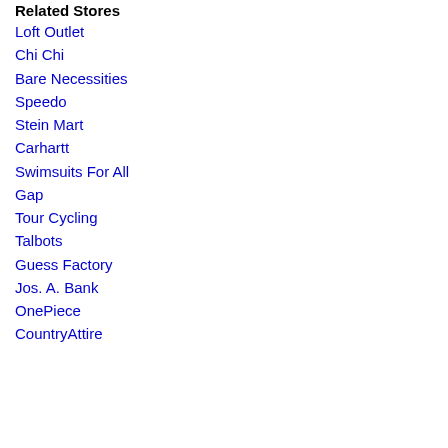Related Stores
Loft Outlet
Chi Chi
Bare Necessities
Speedo
Stein Mart
Carhartt
Swimsuits For All
Gap
Tour Cycling
Talbots
Guess Factory
Jos. A. Bank
OnePiece
CountryAttire